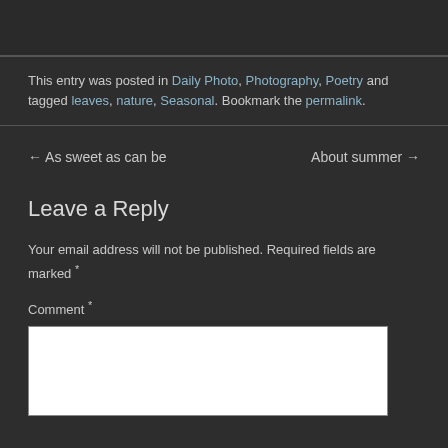This entry was posted in Daily Photo, Photography, Poetry and tagged leaves, nature, Seasonal. Bookmark the permalink.
← As sweet as can be
About summer →
Leave a Reply
Your email address will not be published. Required fields are marked *
Comment *